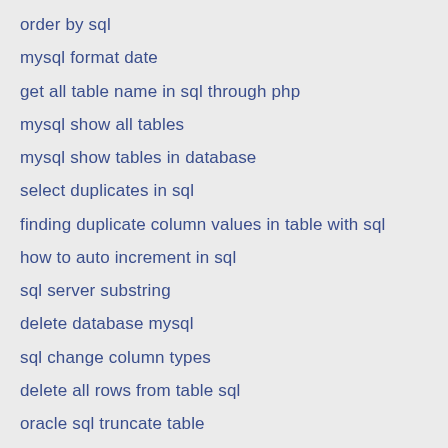order by sql
mysql format date
get all table name in sql through php
mysql show all tables
mysql show tables in database
select duplicates in sql
finding duplicate column values in table with sql
how to auto increment in sql
sql server substring
delete database mysql
sql change column types
delete all rows from table sql
oracle sql truncate table